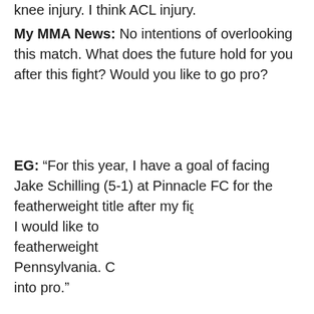knee injury. I think ACL injury.
My MMA News: No intentions of overlooking this match. What does the future hold for you after this fight? Would you like to go pro?
EG: "For this year, I have a goal of facing Jake Schilling (5-1) at Pinnacle FC for the featherweight title after my fight with Cody I would like to featherweight Pennsylvania. C into pro."
My MMA News:
[Figure (photo): Video player overlay showing a smiling blonde woman (Jillian Peterson) at what appears to be a UFC/MMA event, with arena lights in background. Has a blue arrow button for navigation and a progress bar at top.]
[Figure (photo): Wayfair advertisement banner showing Top Appliances at Low Prices with an image of a stove/range. Includes wayfair logo, product image, and 'Shop now' purple button with text 'Save on best selling brands that live up to the hype']